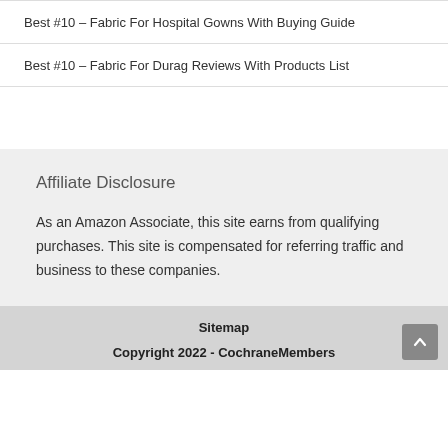Best #10 – Fabric For Hospital Gowns With Buying Guide
Best #10 – Fabric For Durag Reviews With Products List
Affiliate Disclosure
As an Amazon Associate, this site earns from qualifying purchases. This site is compensated for referring traffic and business to these companies.
Sitemap
Copyright 2022 - CochraneMembers